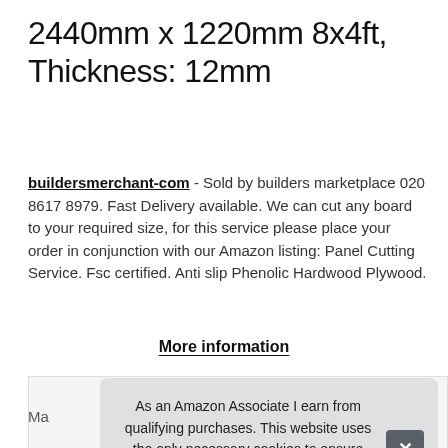2440mm x 1220mm 8x4ft, Thickness: 12mm
buildersmerchant-com - Sold by builders marketplace 020 8617 8979. Fast Delivery available. We can cut any board to your required size, for this service please place your order in conjunction with our Amazon listing: Panel Cutting Service. Fsc certified. Anti slip Phenolic Hardwood Plywood.
More information
As an Amazon Associate I earn from qualifying purchases. This website uses the only necessary cookies to ensure you get the best experience on our website. More information